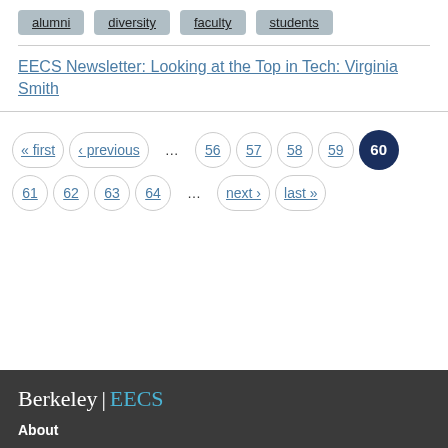alumni
diversity
faculty
students
EECS Newsletter: Looking at the Top in Tech: Virginia Smith
« first ‹ previous … 56 57 58 59 60 61 62 63 64 … next › last »
Berkeley | EECS
About